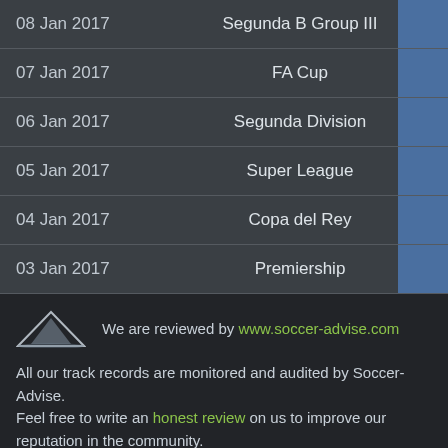| Date | Competition |  |
| --- | --- | --- |
| 08 Jan 2017 | Segunda B Group III |  |
| 07 Jan 2017 | FA Cup |  |
| 06 Jan 2017 | Segunda Division |  |
| 05 Jan 2017 | Super League |  |
| 04 Jan 2017 | Copa del Rey |  |
| 03 Jan 2017 | Premiership |  |
We are reviewed by www.soccer-advise.com
All our track records are monitored and audited by Soccer-Advise. Feel free to write an honest review on us to improve our reputation in the community.
Close